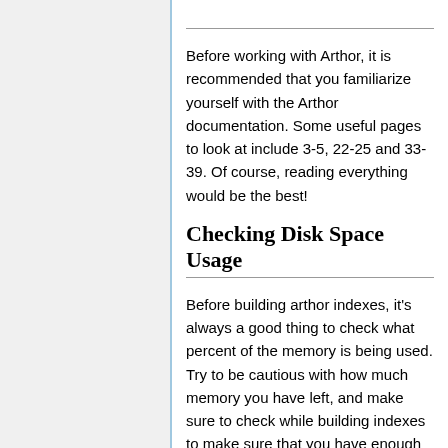Before working with Arthor, it is recommended that you familiarize yourself with the Arthor documentation. Some useful pages to look at include 3-5, 22-25 and 33-39. Of course, reading everything would be the best!
Checking Disk Space Usage
Before building arthor indexes, it's always a good thing to check what percent of the memory is being used. Try to be cautious with how much memory you have left, and make sure to check while building indexes to make sure that you have enough space. To check, run the following command:
df -h /<directory with disc>